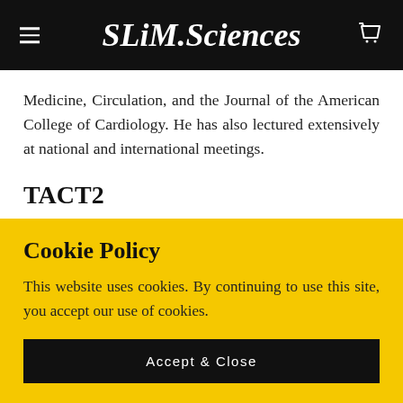SLiM.Sciences
Medicine, Circulation, and the Journal of the American College of Cardiology. He has also lectured extensively at national and international meetings.
TACT2
A Block Screen Event The results of the first TACT
Cookie Policy
This website uses cookies. By continuing to use this site, you accept our use of cookies.
Accept & Close